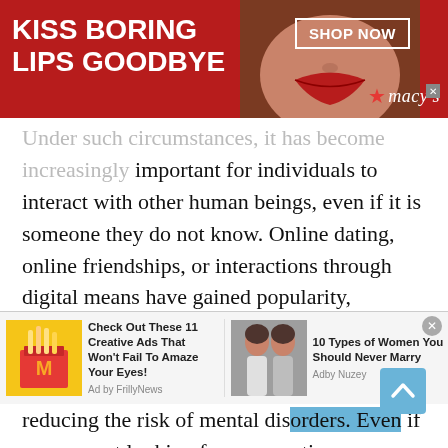[Figure (illustration): Macy's advertisement banner showing red background with white bold text 'KISS BORING LIPS GOODBYE', a woman's face with red lipstick in center, a 'SHOP NOW' button in white border, Macy's logo with star at bottom right.]
Under such circumstances, it has become increasingly important for individuals to interact with other human beings, even if it is someone they do not know. Online dating, online friendships, or interactions through digital means have gained popularity, especially during the age of social distancing.
If you look at it this way, undoubtedly, Guadeloupian International Chat is a wonderful way of reducing loneliness and reducing the risk of mental disorders. Even if you are not looking for a romantic relationship through
[Figure (illustration): Bottom advertisement bar with two ads: Left ad shows McDonald's french fries image with text 'Check Out These 11 Creative Ads That Won't Fail To Amaze Your Eyes! Ad by FrillyNews'. Right ad shows two women photo with text '10 Types of Women You Should Never Marry Adby Nuzey'.]